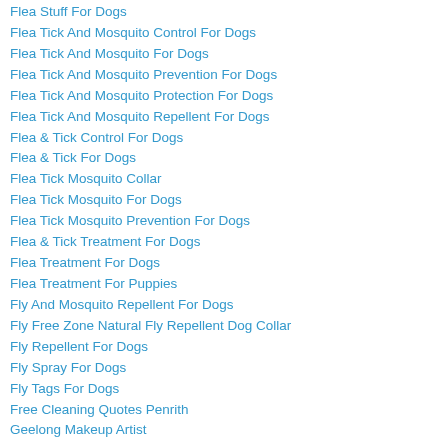Flea Stuff For Dogs
Flea Tick And Mosquito Control For Dogs
Flea Tick And Mosquito For Dogs
Flea Tick And Mosquito Prevention For Dogs
Flea Tick And Mosquito Protection For Dogs
Flea Tick And Mosquito Repellent For Dogs
Flea & Tick Control For Dogs
Flea & Tick For Dogs
Flea Tick Mosquito Collar
Flea Tick Mosquito For Dogs
Flea Tick Mosquito Prevention For Dogs
Flea & Tick Treatment For Dogs
Flea Treatment For Dogs
Flea Treatment For Puppies
Fly And Mosquito Repellent For Dogs
Fly Free Zone Natural Fly Repellent Dog Collar
Fly Repellent For Dogs
Fly Spray For Dogs
Fly Tags For Dogs
Free Cleaning Quotes Penrith
Geelong Makeup Artist